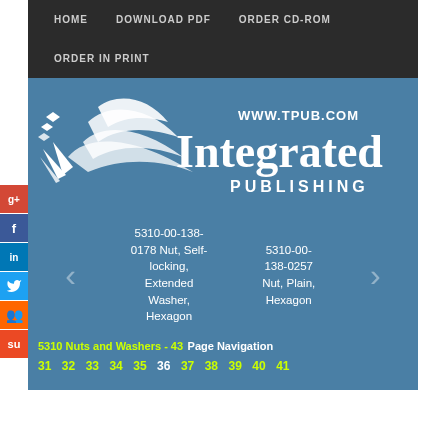HOME   DOWNLOAD PDF   ORDER CD-ROM   ORDER IN PRINT
[Figure (logo): Integrated Publishing logo with stylized bird/leaf graphic and text 'WWW.TPUB.COM Integrated PUBLISHING']
5310-00-138-0178 Nut, Self-locking, Extended Washer, Hexagon
5310-00-138-0257 Nut, Plain, Hexagon
5310 Nuts and Washers - 43 Page Navigation
31 32 33 34 35 36 37 38 39 40 41